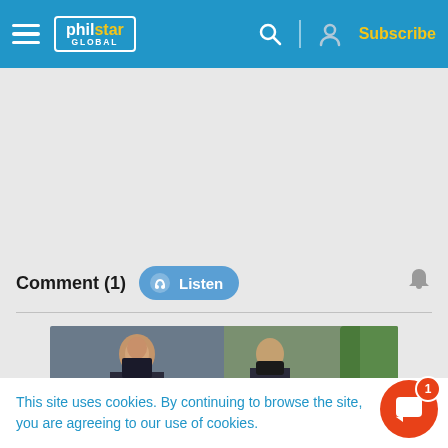philstar GLOBAL — Subscribe
Comment (1) Listen
[Figure (photo): Photo strip showing two young women, one wearing a face mask, outdoors near trees]
This site uses cookies. By continuing to browse the site, you are agreeing to our use of cookies.